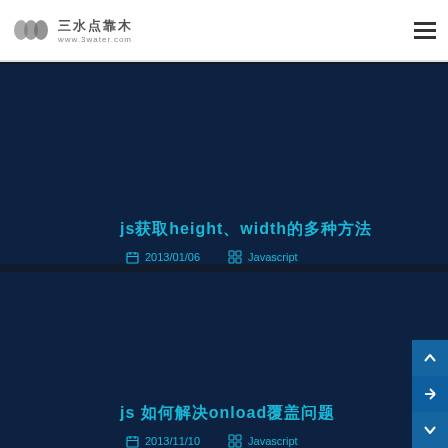三水点靠木 www.3water.com
js获取height、width的多种方法
2013/01/06  Javascript
js 如何解决onload覆盖问题
2013/11/10  Javascript